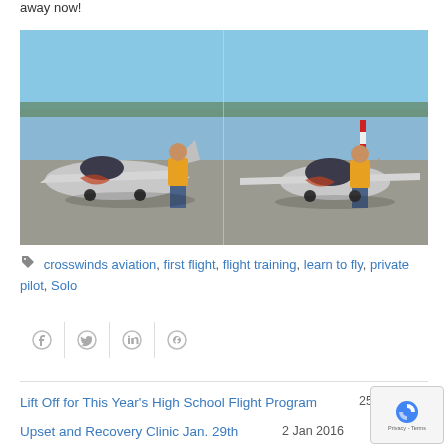away now!
[Figure (photo): Two side-by-side photos of a young person in a yellow jacket standing next to a small silver light sport aircraft on an airport tarmac, one photo from the side and one from the front showing the propeller.]
crosswinds aviation, first flight, flight training, learn to fly, private pilot, Solo
[Figure (infographic): Social share buttons: Facebook, Twitter, LinkedIn, Pinterest]
Lift Off for This Year's High School Flight Program	25 Sep 2014
Upset and Recovery Clinic Jan. 29th	2 Jan 2016